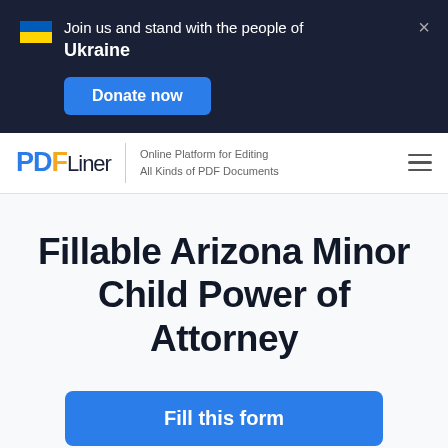[Figure (infographic): Dark navy banner with Ukrainian flag icon, text 'Join us and stand with the people of Ukraine', a blue 'Donate now' button, and a close (×) button]
[Figure (logo): PDFLiner logo with tagline 'Online Platform for Editing All Kinds of PDF Documents' and hamburger menu icon]
Fillable Arizona Minor Child Power of Attorney
Fill this form